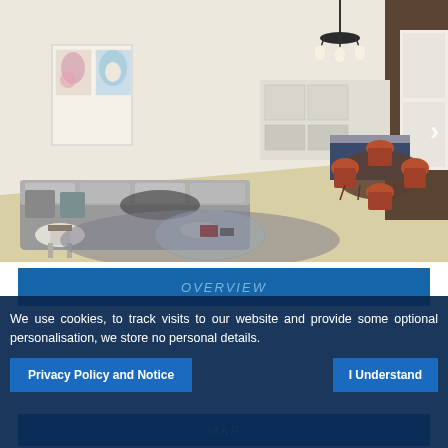[Figure (photo): Interior photo of a modern open-plan living and dining room with grey sofa, glass coffee table, orange dining chairs, chandelier, and light wood flooring, with kitchen visible in background]
OVERVIEW
We use cookies, to track visits to our website and provide some optional personalisation, we store no personal details. I Understand
Privacy Policy and Notice
MAP